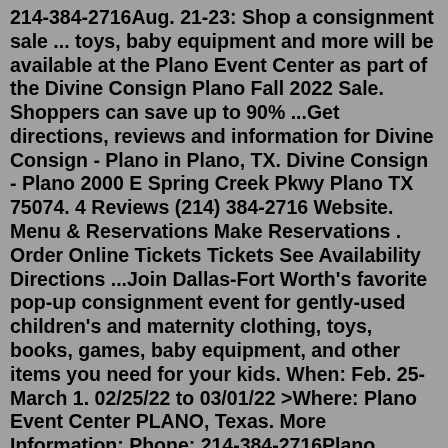214-384-2716Aug. 21-23: Shop a consignment sale ... toys, baby equipment and more will be available at the Plano Event Center as part of the Divine Consign Plano Fall 2022 Sale. Shoppers can save up to 90% ...Get directions, reviews and information for Divine Consign - Plano in Plano, TX. Divine Consign - Plano 2000 E Spring Creek Pkwy Plano TX 75074. 4 Reviews (214) 384-2716 Website. Menu & Reservations Make Reservations . Order Online Tickets Tickets See Availability Directions ...Join Dallas-Fort Worth's favorite pop-up consignment event for gently-used children's and maternity clothing, toys, books, games, baby equipment, and other items you need for your kids. When: Feb. 25-March 1. 02/25/22 to 03/01/22 >Where: Plano Event Center PLANO, Texas. More Information: Phone: 214-384-2716Plano consignors shop on Saturday, ... Divine Consign is not responsible for lost tags or stolen merchandise. DONATING - Our BEST consignors mark their items to be donated if they